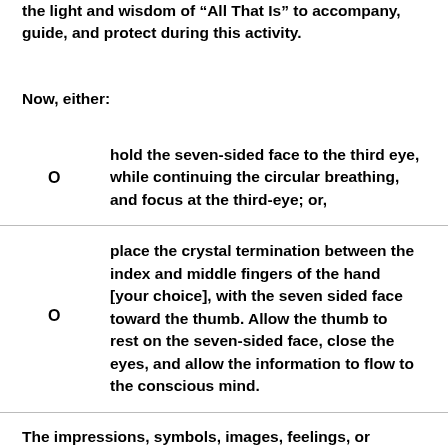the light and wisdom of “All That Is” to accompany, guide, and protect during this activity.
Now, either:
hold the seven-sided face to the third eye, while continuing the circular breathing, and focus at the third-eye; or,
place the crystal termination between the index and middle fingers of the hand [your choice], with the seven sided face toward the thumb. Allow the thumb to rest on the seven-sided face, close the eyes, and allow the information to flow to the conscious mind.
The impressions, symbols, images, feelings, or